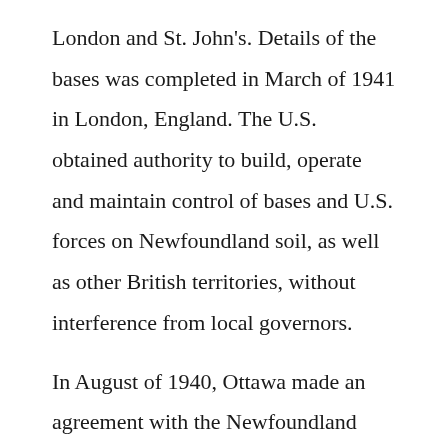London and St. John's. Details of the bases was completed in March of 1941 in London, England. The U.S. obtained authority to build, operate and maintain control of bases and U.S. forces on Newfoundland soil, as well as other British territories, without interference from local governors.

In August of 1940, Ottawa made an agreement with the Newfoundland Government saying that Canada assumed the responsibility of protection for the island. Roosevelt was interested in placing U.S. naval and air bases in the region because it guarded the entrance to the St. Lawrence River and the Gulf, as well as the western reaches of sea lanes in the